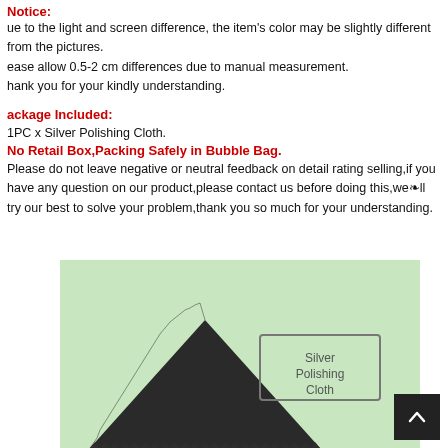Notice:
Due to the light and screen difference, the item's color may be slightly different from the pictures.
Please allow 0.5-2 cm differences due to manual measurement.
Thank you for your kindly understanding.
Package Included:
1PC x Silver Polishing Cloth.
No Retail Box,Packing Safely in Bubble Bag.
Please do not leave negative or neutral feedback on detail rating selling,if you have any question on our product,please contact us before doing this,we'll try our best to solve your problem,thank you so much for your understanding.
[Figure (photo): Photo of a dark (black/charcoal) silver polishing cloth folded in a triangular shape, placed on a light green card labeled 'Silver Polishing Cloth' in a gray border box.]